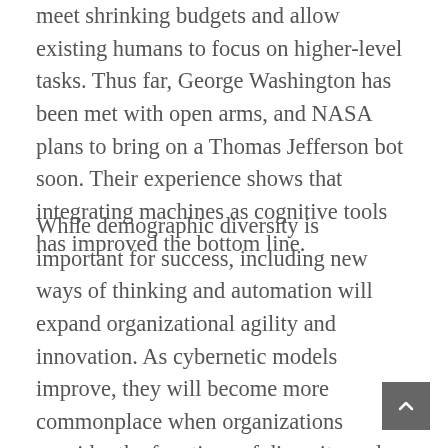meet shrinking budgets and allow existing humans to focus on higher-level tasks. Thus far, George Washington has been met with open arms, and NASA plans to bring on a Thomas Jefferson bot soon. Their experience shows that integrating machines as cognitive tools has improved the bottom line.
While demographic diversity is important for success, including new ways of thinking and automation will expand organizational agility and innovation. As cybernetic models improve, they will become more commonplace when organizations consider the functions of diversity and inclusion executives. Embracing cybernetics, the science of communications, and automatic control systems in both machines and living things, may sound like science fiction. But in reality, it boosts agility,